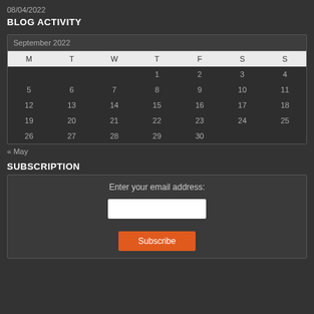08/04/2022
BLOG ACTIVITY
| M | T | W | T | F | S | S |
| --- | --- | --- | --- | --- | --- | --- |
|  |  |  | 1 | 2 | 3 | 4 |
| 5 | 6 | 7 | 8 | 9 | 10 | 11 |
| 12 | 13 | 14 | 15 | 16 | 17 | 18 |
| 19 | 20 | 21 | 22 | 23 | 24 | 25 |
| 26 | 27 | 28 | 29 | 30 |  |  |
« May
SUBSCRIPTION
Enter your email address: